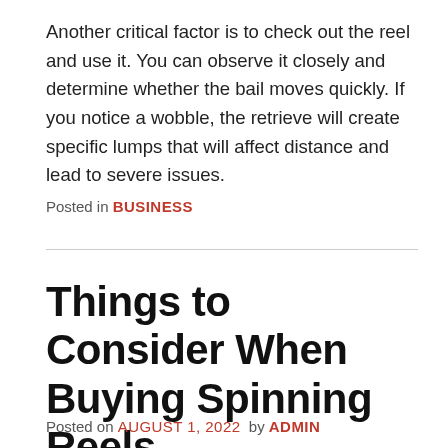Another critical factor is to check out the reel and use it. You can observe it closely and determine whether the bail moves quickly. If you notice a wobble, the retrieve will create specific lumps that will affect distance and lead to severe issues.
Posted in BUSINESS
Things to Consider When Buying Spinning Reels
Posted on AUGUST 1, 2022 by ADMIN